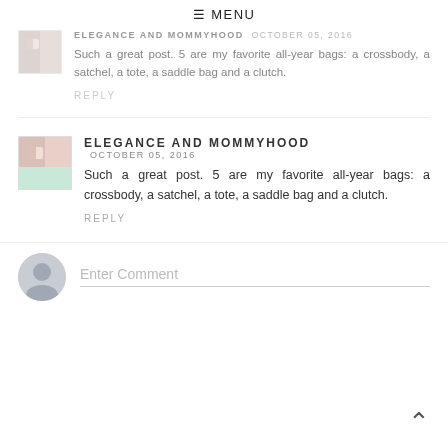≡ MENU
ELEGANCE AND MOMMYHOOD   OCTOBER 05, 2016
Such a great post. 5 are my favorite all-year bags: a crossbody, a satchel, a tote, a saddle bag and a clutch.
REPLY
ELEGANCE AND MOMMYHOOD   OCTOBER 05, 2016
Such a great post. 5 are my favorite all-year bags: a crossbody, a satchel, a tote, a saddle bag and a clutch.
REPLY
Enter Comment